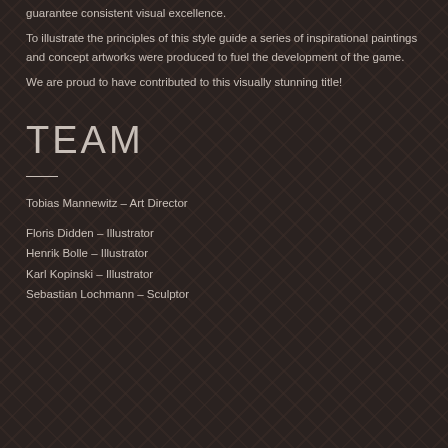created a comprehensive style guide for the production team to guarantee consistent visual excellence.
To illustrate the principles of this style guide a series of inspirational paintings and concept artworks were produced to fuel the development of the game.
We are proud to have contributed to this visually stunning title!
TEAM
Tobias Mannewitz – Art Director
Floris Didden – Illustrator
Henrik Bolle – Illustrator
Karl Kopinski – Illustrator
Sebastian Lochmann – Sculptor